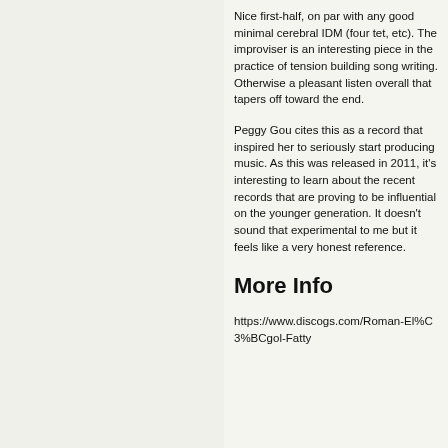Nice first-half, on par with any good minimal cerebral IDM (four tet, etc). The improviser is an interesting piece in the practice of tension building song writing. Otherwise a pleasant listen overall that tapers off toward the end.
Peggy Gou cites this as a record that inspired her to seriously start producing music. As this was released in 2011, it's interesting to learn about the recent records that are proving to be influential on the younger generation. It doesn't sound that experimental to me but it feels like a very honest reference.
More Info
https://www.discogs.com/Roman-El%C3%BCgol-Fatty